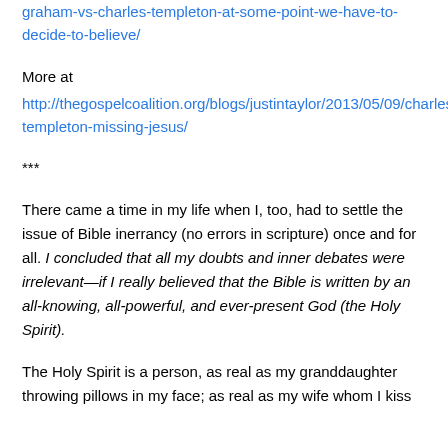graham-vs-charles-templeton-at-some-point-we-have-to-decide-to-believe/
More at
http://thegospelcoalition.org/blogs/justintaylor/2013/05/09/charles-templeton-missing-jesus/
***
There came a time in my life when I, too, had to settle the issue of Bible inerrancy (no errors in scripture) once and for all. I concluded that all my doubts and inner debates were irrelevant—if I really believed that the Bible is written by an all-knowing, all-powerful, and ever-present God (the Holy Spirit).
The Holy Spirit is a person, as real as my granddaughter throwing pillows in my face; as real as my wife whom I kiss